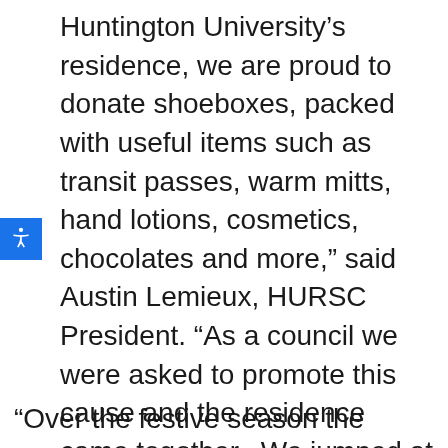Huntington University's residence, we are proud to donate shoeboxes, packed with useful items such as transit passes, warm mitts, hand lotions, cosmetics, chocolates and more,” said Austin Lemieux, HURSC President. “As a council we were asked to promote this cause and the residence came together.  We jumped at the opportunity to support the Sudbury Shoebox Project, which collects shoeboxes for shelters and distributes them to women who are homeless or at risk of being homeless, in our community.
“Over the festive season the HURSC and the